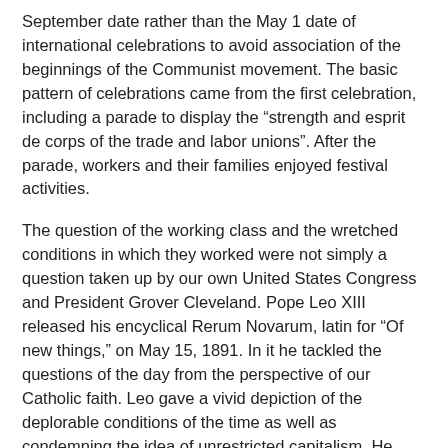September date rather than the May 1 date of international celebrations to avoid association of the beginnings of the Communist movement. The basic pattern of celebrations came from the first celebration, including a parade to display the “strength and esprit de corps of the trade and labor unions”. After the parade, workers and their families enjoyed festival activities.
The question of the working class and the wretched conditions in which they worked were not simply a question taken up by our own United States Congress and President Grover Cleveland. Pope Leo XIII released his encyclical Rerum Novarum, latin for “Of new things,” on May 15, 1891. In it he tackled the questions of the day from the perspective of our Catholic faith. Leo gave a vivid depiction of the deplorable conditions of the time as well as condemning the idea of unrestricted capitalism. He called for the formation of trade unions and a living wage. Finally, it introduced the idea of the Church’s preferential option for the poor. He spoke of God’s preference for the poor and our need as disciples to continue to reach out to those in financial need. Remember Jesus’ depiction of the final judgment (Mt. 25:31-46) where Jesus says, “whatever you did for one of these least brothers of mine, you did for